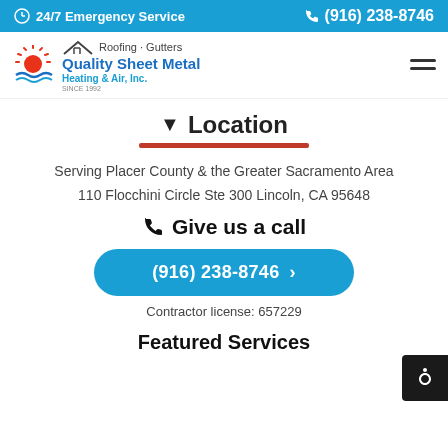24/7 Emergency Service | (916) 238-8746
[Figure (logo): Quality Sheet Metal Roofing Gutters Heating & Air Inc. logo with sun graphic]
Location
Serving Placer County & the Greater Sacramento Area
110 Flocchini Circle Ste 300 Lincoln, CA 95648
Give us a call
(916) 238-8746
Contractor license: 657229
Featured Services